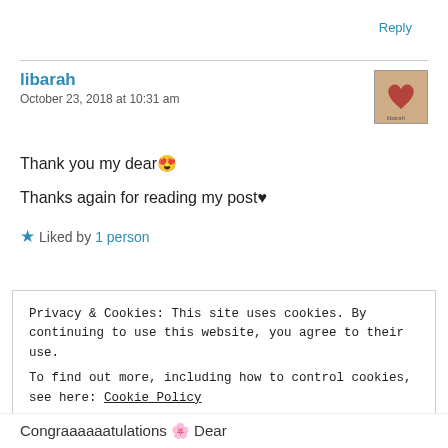Reply
libarah
October 23, 2018 at 10:31 am
Thank you my dear😍
Thanks again for reading my post♥
★ Liked by 1 person
Privacy & Cookies: This site uses cookies. By continuing to use this website, you agree to their use.
To find out more, including how to control cookies, see here: Cookie Policy
Close and accept
Congraaaaaatulations 🌼 Dear